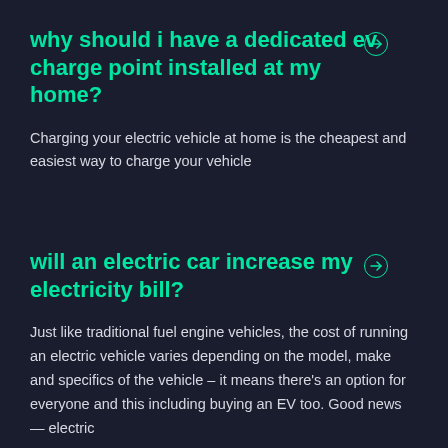why should i have a dedicated ev charge point installed at my home?
Charging your electric vehicle at home is the cheapest and easiest way to charge your vehicle
will an electric car increase my electricity bill?
Just like traditional fuel engine vehicles, the cost of running an electric vehicle varies depending on the model, make and specifics of the vehicle – it means there's an option for everyone and this including buying an EV too. Good news — electric